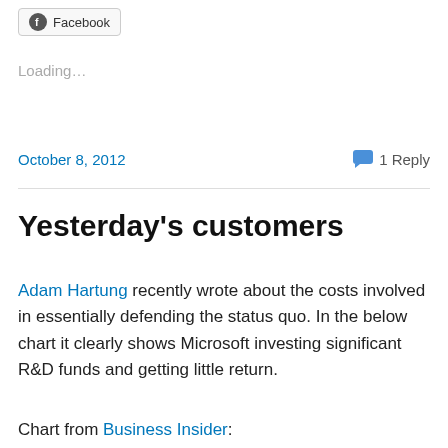[Figure (screenshot): Facebook share button with Facebook logo icon and text 'Facebook']
Loading…
October 8, 2012    💬 1 Reply
Yesterday's customers
Adam Hartung recently wrote about the costs involved in essentially defending the status quo. In the below chart it clearly shows Microsoft investing significant R&D funds and getting little return.
Chart from Business Insider: